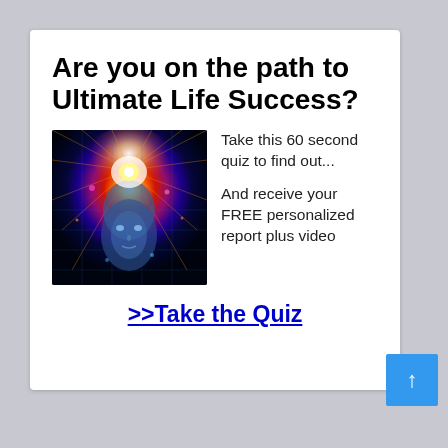Are you on the path to Ultimate Life Success?
[Figure (illustration): Digital illustration of a blue humanoid face with a glowing, colorful energy halo around the head — representing mind/consciousness theme]
Take this 60 second quiz to find out...

And receive your FREE personalized report plus video
>>Take the Quiz